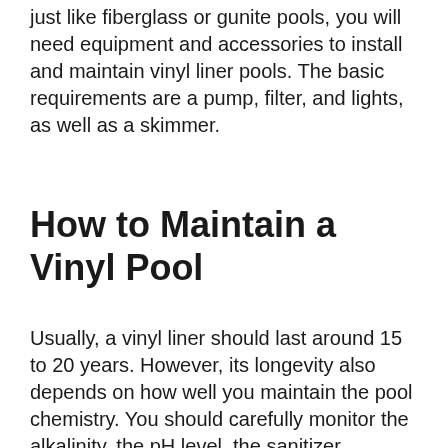just like fiberglass or gunite pools, you will need equipment and accessories to install and maintain vinyl liner pools. The basic requirements are a pump, filter, and lights, as well as a skimmer.
How to Maintain a Vinyl Pool
Usually, a vinyl liner should last around 15 to 20 years. However, its longevity also depends on how well you maintain the pool chemistry. You should carefully monitor the alkalinity, the pH level, the sanitizer amount, etc.
Several factors can limit the lifespan of